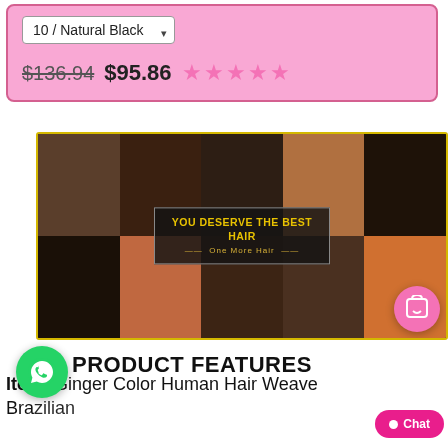10 / Natural Black (dropdown)
$136.94  $95.86  ★★★★★
[Figure (photo): Collage banner of women with various hairstyles (curly, straight, wavy). Center overlay reads 'YOU DESERVE THE BEST HAIR — One More Hair —'. Yellow border around image. Pink cart/wishlist icon button at bottom right.]
PRODUCT FEATURES
Item: Ginger Color Human Hair Weave Brazilian